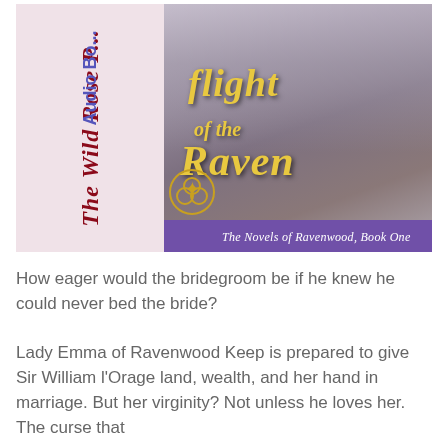[Figure (illustration): Book cover for 'Flight of the Raven' - The Novels of Ravenwood, Book One. Left panel shows a pink/blush background with 'The Wild Rose Press' in dark red italic script rotated vertically, and 'Audio Book' in purple text rotated vertically. Right panel shows a medieval-themed illustration of two women in period dress against a misty stone castle backdrop, with the title 'Flight of the Raven' in gold italic script, a purple banner reading 'The Novels of Ravenwood, Book One', and a gold Celtic trinity knot ornament.]
How eager would the bridegroom be if he knew he could never bed the bride?
Lady Emma of Ravenwood Keep is prepared to give Sir William l'Orage land, wealth, and her hand in marriage. But her virginity? Not unless he loves her. The curse that